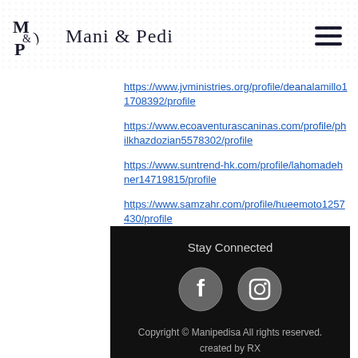Mani & Pedi
https://www.jvministries.org/profile/deanalamillo11708392/profile
https://www.ecoaventurascaninas.com/profile/philkhazdozian5578302/profile
https://www.suntrend-hk.com/profile/lahomadehner14719815/profile
https://www.samzahr.com/profile/hueemoto1257430/profile
Stay Connected
Copyright © Manipedisa All rights reserved.
created by RX